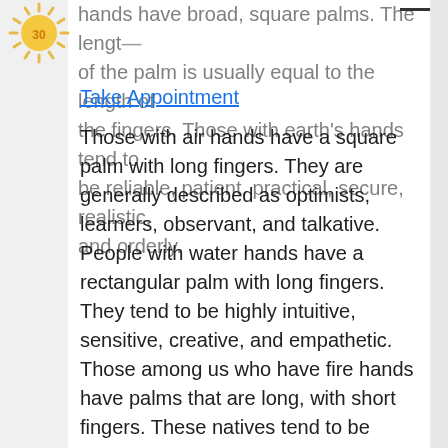[Figure (logo): Sun/star logo with number 30 in yellow and orange rays]
hands have broad, square palms. The length of the palm is usually equal to the length of the fingers. Those with earth's hands tend to be reliable, patient, practical, secure, realistic, and orderly.
Take Appointment
Those with air hands have a square palm with long fingers. They are generally described as optimists, learners, observant, and talkative. People with water hands have a rectangular palm with long fingers. They tend to be highly intuitive, sensitive, creative, and empathetic. Those among us who have fire hands have palms that are long, with short fingers. These natives tend to be enthusiastic, energetic, spontaneous, [continues]